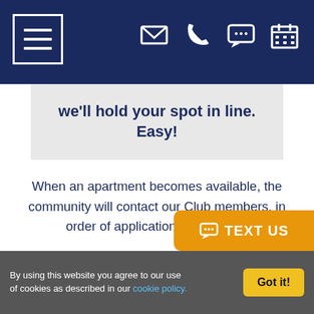[Figure (screenshot): Navy blue navigation header bar with hamburger menu icon on the left, and contact icons (email, phone, chat, calendar) on the right in white]
we'll hold your spot in line. Easy!
When an apartment becomes available, the community will contact our Club members, in order of application submission.
You will have 72 hours from the time we contact you to come by and tour the actual apartment.
Once you've seen it, you have 24 hours to...
By using this website you agree to our use of cookies as described in our cookie policy.